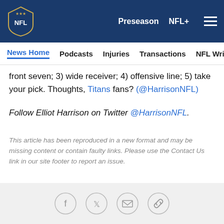NFL | Preseason  NFL+
News Home  Podcasts  Injuries  Transactions  NFL Writers  Se
front seven; 3) wide receiver; 4) offensive line; 5) take your pick. Thoughts, Titans fans? (@HarrisonNFL)
Follow Elliot Harrison on Twitter @HarrisonNFL.
This article has been reproduced in a new format and may be missing content or contain faulty links. Please use the Contact Us link in our site footer to report an issue.